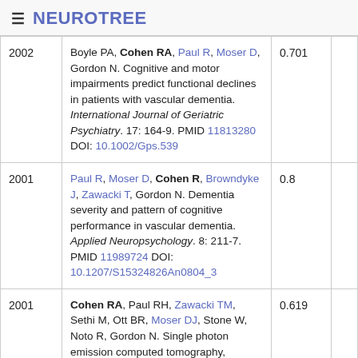≡ NEUROTREE
| Year | Reference | Score |  |
| --- | --- | --- | --- |
| 2002 | Boyle PA, Cohen RA, Paul R, Moser D, Gordon N. Cognitive and motor impairments predict functional declines in patients with vascular dementia. International Journal of Geriatric Psychiatry. 17: 164-9. PMID 11813280 DOI: 10.1002/Gps.539 | 0.701 |  |
| 2001 | Paul R, Moser D, Cohen R, Browndyke J, Zawacki T, Gordon N. Dementia severity and pattern of cognitive performance in vascular dementia. Applied Neuropsychology. 8: 211-7. PMID 11989724 DOI: 10.1207/S15324826An0804_3 | 0.8 |  |
| 2001 | Cohen RA, Paul RH, Zawacki TM, Sethi M, Ott BR, Moser DJ, Stone W, Noto R, Gordon N. Single photon emission computed tomography, magnetic resonance imaging hyperintensity, and cognitive impairments in patients with vascular dementia. Journal of Neuroimaging : Official | 0.619 |  |